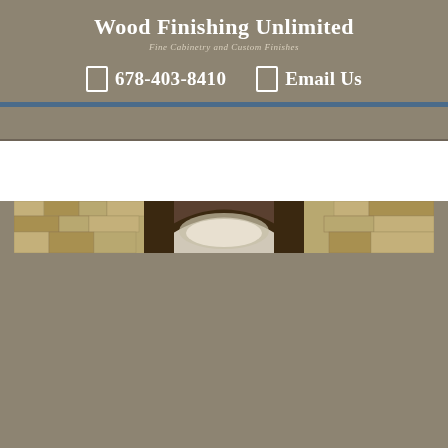Wood Finishing Unlimited
Fine Cabinetry and Custom Finishes
678-403-8410   Email Us
[Figure (photo): Partial view of a stone archway with wooden architectural detail, shown as a horizontal banner strip]